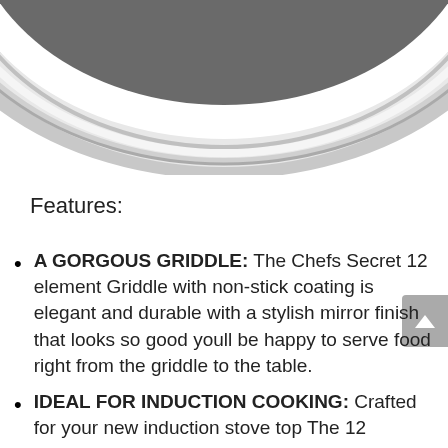[Figure (photo): Bottom portion of a circular stainless steel griddle with a shiny mirror finish and dark non-stick interior, viewed from above on a white background.]
Features:
A GORGOUS GRIDDLE: The Chefs Secret 12 element Griddle with non-stick coating is elegant and durable with a stylish mirror finish that looks so good youll be happy to serve food right from the griddle to the table.
IDEAL FOR INDUCTION COOKING: Crafted for your new induction stove top The 12 element stainless